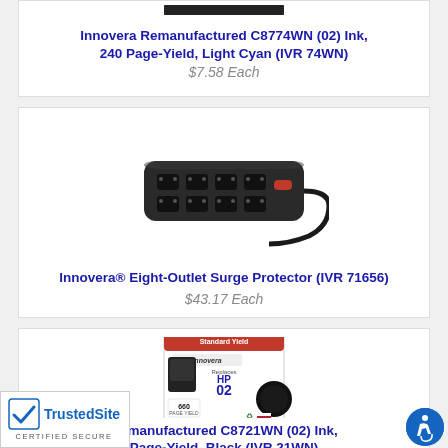[Figure (photo): Product image of Innovera Remanufactured C8774WN ink cartridge (partial, top cut off)]
Innovera Remanufactured C8774WN (02) Ink, 240 Page-Yield, Light Cyan (IVR 74WN)
$7.58 Each
[Figure (photo): Product image of Innovera Eight-Outlet Surge Protector, black power strip with 8 outlets and cord]
Innovera® Eight-Outlet Surge Protector (IVR 71656)
$43.17 Each
[Figure (photo): Product image of Innovera Remanufactured C8721WN (02) ink cartridge in packaging, 660 page yield, black]
Remanufactured C8721WN (02) Ink, Page-Yield, Black (IVR 21WN)
[Figure (logo): TrustedSite Certified Secure badge with checkmark]